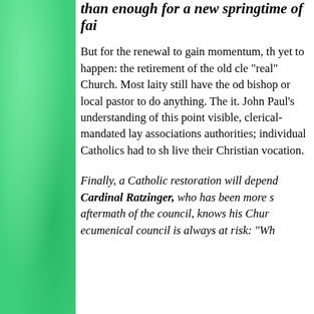than enough for a new springtime of fai...
But for the renewal to gain momentum, th... yet to happen: the retirement of the old cle... "real" Church. Most laity still have the od... bishop or local pastor to do anything. The... it. John Paul's understanding of this point... visible, clerical-mandated lay associations... authorities; individual Catholics had to sh... live their Christian vocation.
Finally, a Catholic restoration will depend... Cardinal Ratzinger, who has been more s... aftermath of the council, knows his Chur... ecumenical council is always at risk: "Wh...